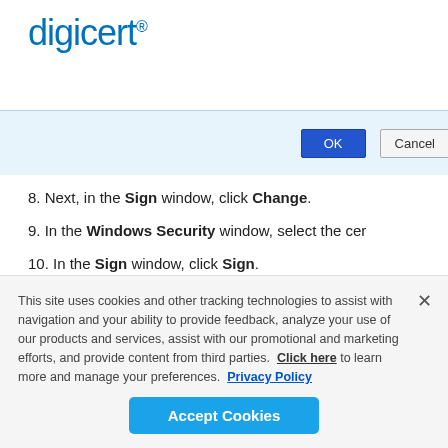[Figure (logo): DigiCert logo in blue text with registered trademark symbol]
[Figure (screenshot): Partial screenshot of a dialog window showing OK and Cancel buttons]
8. Next, in the Sign window, click Change.
9. In the Windows Security window, select the cer
10. In the Sign window, click Sign.
11. If you are using a DigiCert® Document Signing C
This site uses cookies and other tracking technologies to assist with navigation and your ability to provide feedback, analyze your use of our products and services, assist with our promotional and marketing efforts, and provide content from third parties.  Click here to learn more and manage your preferences.  Privacy Policy
Accept Cookies